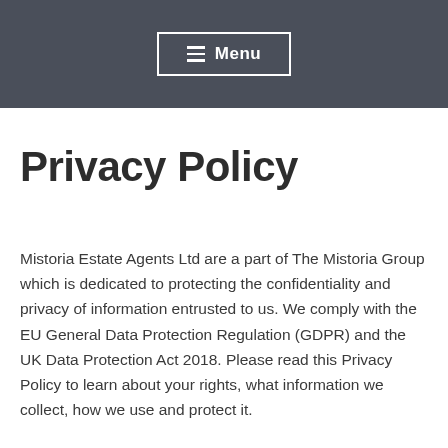Menu
Privacy Policy
Mistoria Estate Agents Ltd are a part of The Mistoria Group which is dedicated to protecting the confidentiality and privacy of information entrusted to us. We comply with the EU General Data Protection Regulation (GDPR) and the UK Data Protection Act 2018. Please read this Privacy Policy to learn about your rights, what information we collect, how we use and protect it.